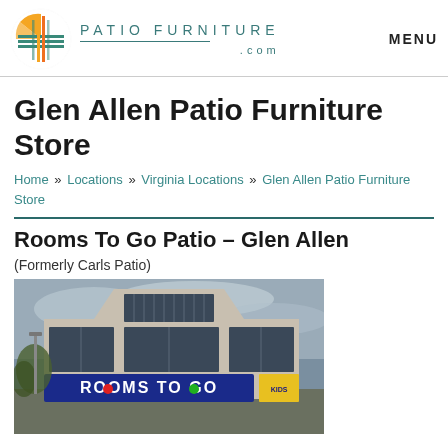[Figure (logo): PatioFurniture.com logo with colorful woven circle emblem and teal brand name text]
Glen Allen Patio Furniture Store
Home » Locations » Virginia Locations » Glen Allen Patio Furniture Store
Rooms To Go Patio – Glen Allen
(Formerly Carls Patio)
[Figure (photo): Exterior photo of Rooms To Go store with large illuminated sign reading ROOMS TO GO]